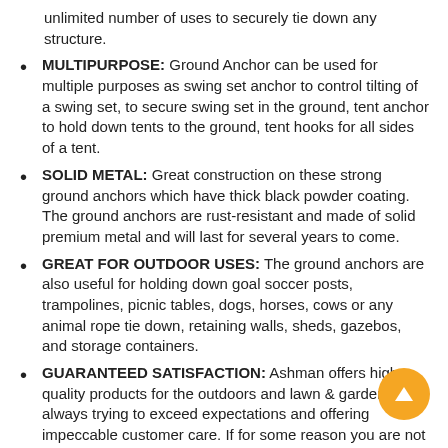unlimited number of uses to securely tie down any structure.
MULTIPURPOSE: Ground Anchor can be used for multiple purposes as swing set anchor to control tilting of a swing set, to secure swing set in the ground, tent anchor to hold down tents to the ground, tent hooks for all sides of a tent.
SOLID METAL: Great construction on these strong ground anchors which have thick black powder coating. The ground anchors are rust-resistant and made of solid premium metal and will last for several years to come.
GREAT FOR OUTDOOR USES: The ground anchors are also useful for holding down goal soccer posts, trampolines, picnic tables, dogs, horses, cows or any animal rope tie down, retaining walls, sheds, gazebos, and storage containers.
GUARANTEED SATISFACTION: Ashman offers high-quality products for the outdoors and lawn & garden and always trying to exceed expectations and offering impeccable customer care. If for some reason you are not happy with the product we have a questions asked return policy and you are welcome to return anytime. Click on Add to Cart button and get the Ground Anchors delivered!